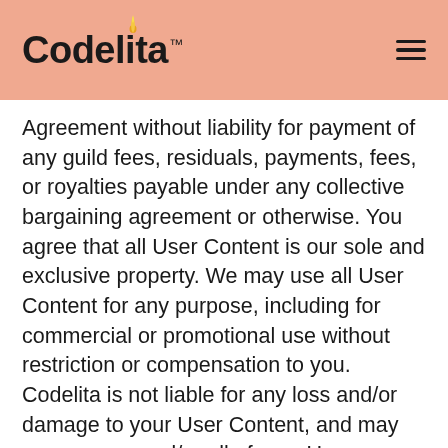Codelita™
Agreement without liability for payment of any guild fees, residuals, payments, fees, or royalties payable under any collective bargaining agreement or otherwise. You agree that all User Content is our sole and exclusive property. We may use all User Content for any purpose, including for commercial or promotional use without restriction or compensation to you. Codelita is not liable for any loss and/or damage to your User Content, and may remove any and/or all of your User Content with or without prior notice. You are solely responsible for creating and/or maintaining a back-up of your User Content.